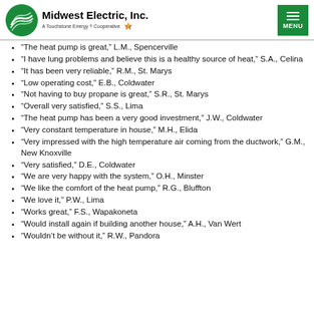Midwest Electric, Inc. — A Touchstone Energy Cooperative
“The heat pump is great,” L.M., Spencerville
“I have lung problems and believe this is a healthy source of heat,” S.A., Celina
“It has been very reliable,” R.M., St. Marys
“Low operating cost,” E.B., Coldwater
“Not having to buy propane is great,” S.R., St. Marys
“Overall very satisfied,” S.S., Lima
“The heat pump has been a very good investment,” J.W., Coldwater
“Very constant temperature in house,” M.H., Elida
“Very impressed with the high temperature air coming from the ductwork,” G.M., New Knoxville
“Very satisfied,” D.E., Coldwater
“We are very happy with the system,” O.H., Minster
“We like the comfort of the heat pump,” R.G., Bluffton
“We love it,” P.W., Lima
“Works great,” F.S., Wapakoneta
“Would install again if building another house,” A.H., Van Wert
“Wouldn’t be without it,” R.W., Pandora